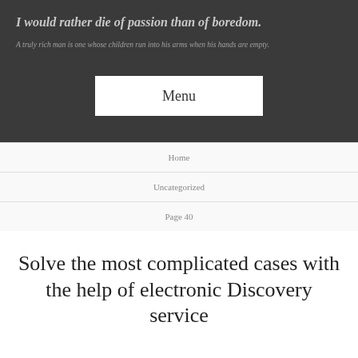I would rather die of passion than of boredom.
A truly rich man is one whose children run into his arms when his hands are empty.
Menu
Home
Uncategorized
Page 40
Solve the most complicated cases with the help of electronic Discovery service